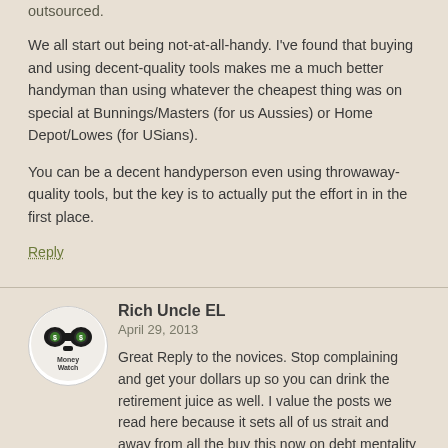outsourced.
We all start out being not-at-all-handy. I've found that buying and using decent-quality tools makes me a much better handyman than using whatever the cheapest thing was on special at Bunnings/Masters (for us Aussies) or Home Depot/Lowes (for USians).
You can be a decent handyperson even using throwaway-quality tools, but the key is to actually put the effort in in the first place.
Reply
[Figure (illustration): Circular avatar image for 'Rich Uncle EL' showing binoculars with dollar sign eyes and 'Money Watch' text below]
Rich Uncle EL
April 29, 2013
Great Reply to the novices. Stop complaining and get your dollars up so you can drink the retirement juice as well. I value the posts we read here because it sets all of us strait and away from all the buy this now on debt mentality affecting the society.
PS Novices, move out of your parent's basement!